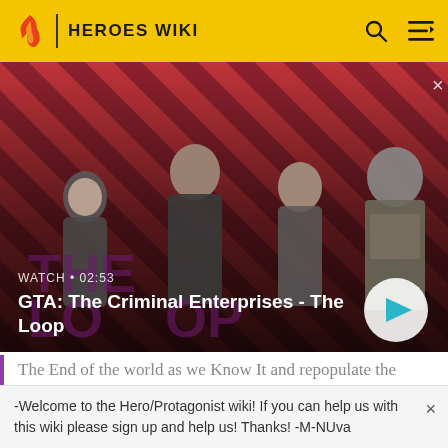HEROES WIKI
[Figure (screenshot): GTA: The Criminal Enterprises - The Loop promotional video thumbnail showing four characters on a red diagonal striped background. Video duration shown as 02:53.]
The End of the world as we Know It and repopulate the planet with his own descendants; to that end, he has created an army of scantily-clad and skilled women
-Welcome to the Hero/Protagonist wiki! If you can help us with this wiki please sign up and help us! Thanks! -M-NUva